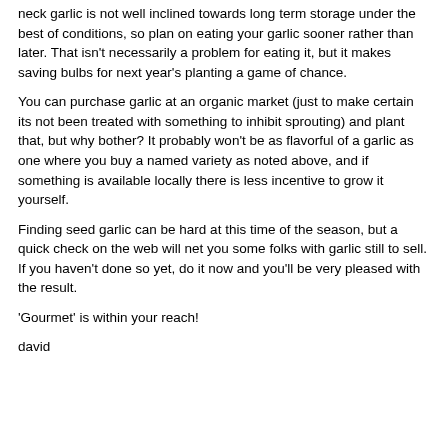neck garlic is not well inclined towards long term storage under the best of conditions, so plan on eating your garlic sooner rather than later. That isn't necessarily a problem for eating it, but it makes saving bulbs for next year's planting a game of chance.
You can purchase garlic at an organic market (just to make certain its not been treated with something to inhibit sprouting) and plant that, but why bother? It probably won't be as flavorful of a garlic as one where you buy a named variety as noted above, and if something is available locally there is less incentive to grow it yourself.
Finding seed garlic can be hard at this time of the season, but a quick check on the web will net you some folks with garlic still to sell. If you haven't done so yet, do it now and you'll be very pleased with the result.
'Gourmet' is within your reach!
david